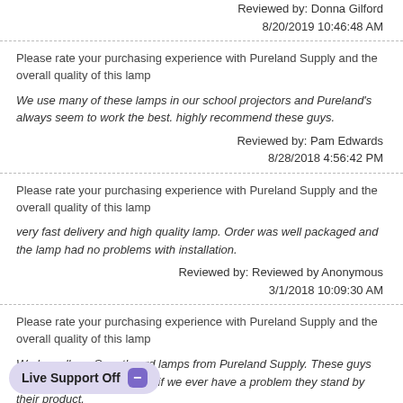Reviewed by:  Donna Gilford
8/20/2019 10:46:48 AM
Please rate your purchasing experience with Pureland Supply and the overall quality of this lamp
We use many of these lamps in our school projectors and Pureland's always seem to work the best. highly recommend these guys.
Reviewed by:  Pam Edwards
8/28/2018 4:56:42 PM
Please rate your purchasing experience with Pureland Supply and the overall quality of this lamp
very fast delivery and high quality lamp. Order was well packaged and the lamp had no problems with installation.
Reviewed by:  Reviewed by Anonymous
3/1/2018 10:09:30 AM
Please rate your purchasing experience with Pureland Supply and the overall quality of this lamp
We buy all our Smartboard lamps from Pureland Supply. These guys have the lowest prices and if we ever have a problem they stand by their product.
Reviewed by:  Scott S
12/29/2017 8:59:23 AM